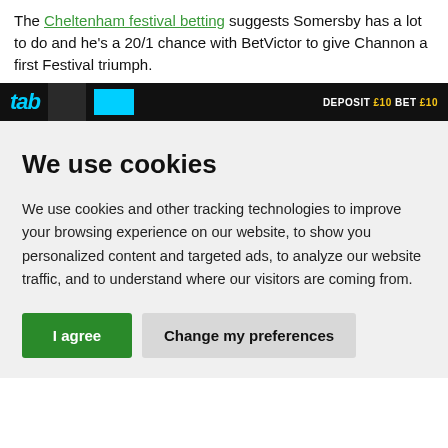The Cheltenham festival betting suggests Somersby has a lot to do and he's a 20/1 chance with BetVictor to give Channon a first Festival triumph.
[Figure (screenshot): Advertisement banner with dark background showing sports imagery, cyan text logo on left, and 'DEPOSIT £10 BET £10' text on right in white with yellow pound signs.]
We use cookies
We use cookies and other tracking technologies to improve your browsing experience on our website, to show you personalized content and targeted ads, to analyze our website traffic, and to understand where our visitors are coming from.